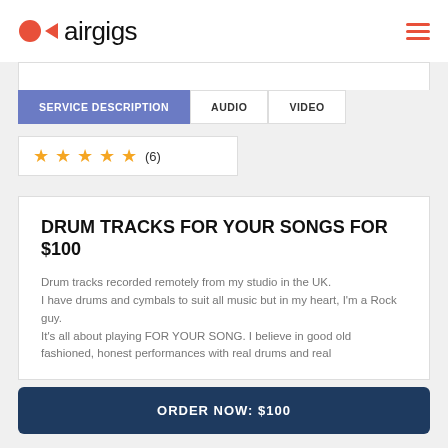airgigs
SERVICE DESCRIPTION | AUDIO | VIDEO
★ ★ ★ ★ ★ (6)
DRUM TRACKS FOR YOUR SONGS FOR $100
Drum tracks recorded remotely from my studio in the UK. I have drums and cymbals to suit all music but in my heart, I'm a Rock guy. It's all about playing FOR YOUR SONG. I believe in good old fashioned, honest performances with real drums and real...
ORDER NOW: $100